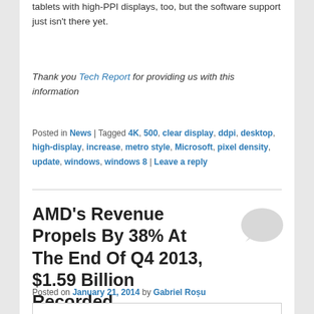tablets with high-PPI displays, too, but the software support just isn't there yet.
Thank you Tech Report for providing us with this information
Posted in News | Tagged 4K, 500, clear display, ddpi, desktop, high-display, increase, metro style, Microsoft, pixel density, update, windows, windows 8 | Leave a reply
AMD's Revenue Propels By 38% At The End Of Q4 2013, $1.59 Billion Recorded
Posted on January 21, 2014 by Gabriel Roșu